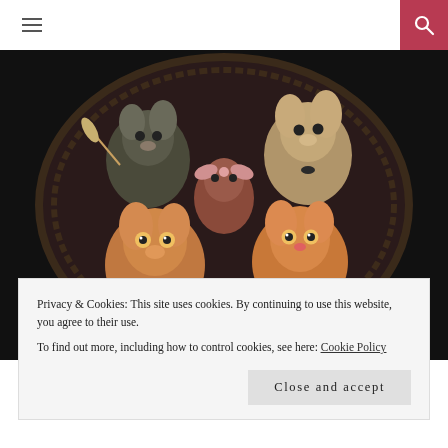≡ [hamburger menu] | [search icon]
[Figure (illustration): Fantasy illustration of five anthropomorphic mice/rats gathered around an open book on a dark oval background. The mice have expressive human-like faces; some hold quills and wear small accessories. The artwork has a detailed, painterly style with warm reddish-brown tones against a black background.]
Privacy & Cookies: This site uses cookies. By continuing to use this website, you agree to their use.
To find out more, including how to control cookies, see here: Cookie Policy
Close and accept